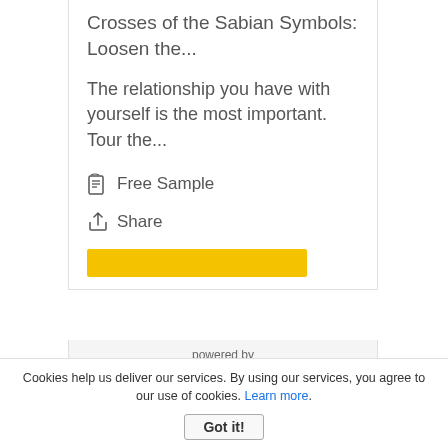Crosses of the Sabian Symbols: Loosen the...
The relationship you have with yourself is the most important. Tour the...
📖 Free Sample
↗ Share
[Figure (other): Yellow button bar]
[Figure (logo): Smashwords logo with book icon and text 'Smashwords', captioned 'powered by']
Cookies help us deliver our services. By using our services, you agree to our use of cookies. Learn more. Got it!